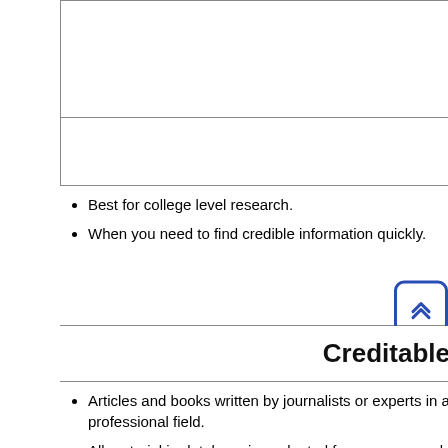Best for college level research.
When you need to find credible information quickly.
Creditable
Articles and books written by journalists or experts in a professional field.
All material in database is evaluated for accuracy and credibility by subject and publishers.
Reviewed and updated regularly.
Will it be there next
Most material remains in the database for a signicant length of time and c